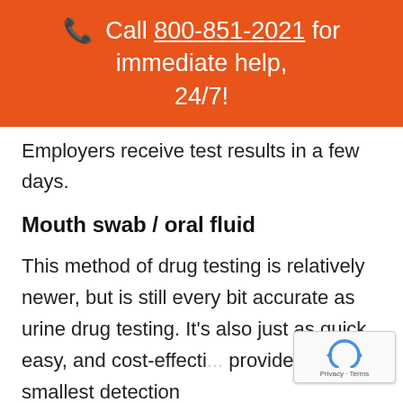📞 Call 800-851-2021 for immediate help, 24/7!
Employers receive test results in a few days.
Mouth swab / oral fluid
This method of drug testing is relatively newer, but is still every bit accurate as urine drug testing. It's also just as quick, easy, and cost-effecti... provides the smallest detection